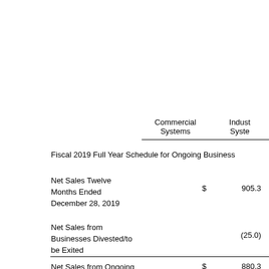|  | Commercial Systems | Industrial Systems |
| --- | --- | --- |
| Fiscal 2019 Full Year Schedule for Ongoing Business |  |  |
| Net Sales Twelve Months Ended December 28, 2019 | $ 905.3 | $ 575. |
| Net Sales from Businesses Divested/to be Exited | (25.0) | — |
| Net Sales from Ongoing Business | $ 880.3 | $ 575. |
| GAAP Income (Loss) from Operations Twelve Months Ended December 28, 2019 | $ 103.1 | $ (9. |